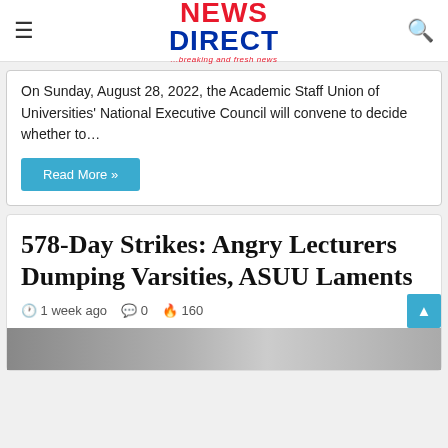NEWS DIRECT ...breaking and fresh news
On Sunday, August 28, 2022, the Academic Staff Union of Universities' National Executive Council will convene to decide whether to…
Read More »
578-Day Strikes: Angry Lecturers Dumping Varsities, ASUU Laments
1 week ago  0  160